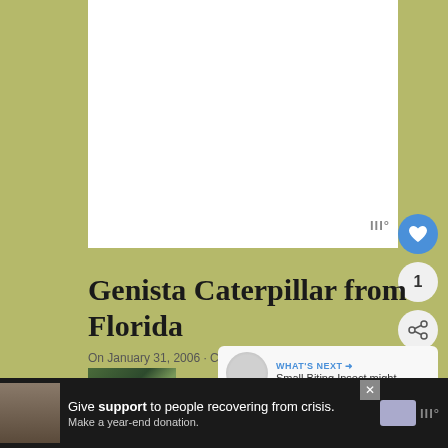[Figure (photo): White/blank image area at top of page, article main image placeholder]
Genista Caterpillar from Florida
On January 31, 2006 · Category: Snout Moth Caterpillars ·
[Figure (photo): Small thumbnail photo showing green foliage/plant]
WHAT'S NEXT → Small Biting Insect might...
[Figure (photo): Advertisement bar: Give support to people recovering from crisis. Make a year-end donation.]